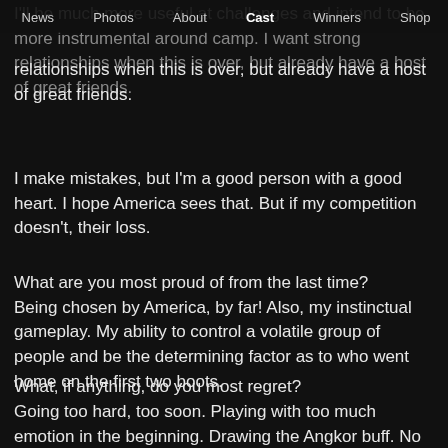I'll be much more useful at challenges and intend to be more instrumental around camp. I want strong relationships when this is over, but already have a host of great friends.
News  Photos  About  Cast  Winners  Shop
I make mistakes, but I'm a good person with a good heart. I hope America sees that. But if my competition doesn't, their loss.
What are you most proud of from the last time? Being chosen by America, by far! Also, my instinctual gameplay. My ability to control a volatile group of people and be the determining factor as to who went home on the first two boots.
What, if anything, do you most regret? Going too hard, too soon. Playing with too much emotion in the beginning. Drawing the Angkor buff. No matter how good of a game you're playing, drawing the wrong buff can change everything.
How will you play differently this time?